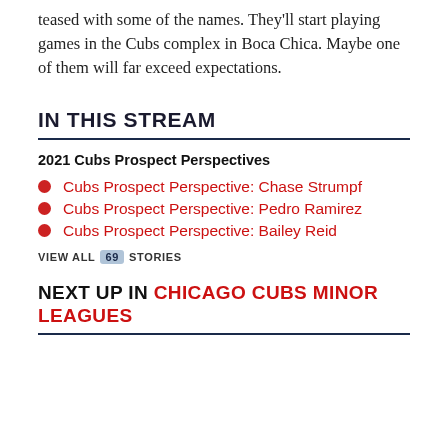teased with some of the names. They'll start playing games in the Cubs complex in Boca Chica. Maybe one of them will far exceed expectations.
IN THIS STREAM
2021 Cubs Prospect Perspectives
Cubs Prospect Perspective: Chase Strumpf
Cubs Prospect Perspective: Pedro Ramirez
Cubs Prospect Perspective: Bailey Reid
VIEW ALL 69 STORIES
NEXT UP IN CHICAGO CUBS MINOR LEAGUES